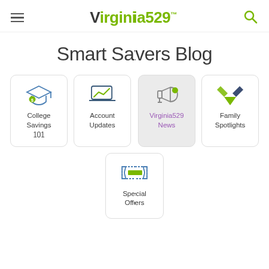Virginia529
Smart Savers Blog
[Figure (illustration): Four navigation cards: College Savings 101 (graduation cap icon), Account Updates (laptop with chart icon), Virginia529 News (megaphone icon, active/highlighted), Family Spotlights (scissors/tools icon)]
[Figure (illustration): One navigation card: Special Offers (ticket icon)]